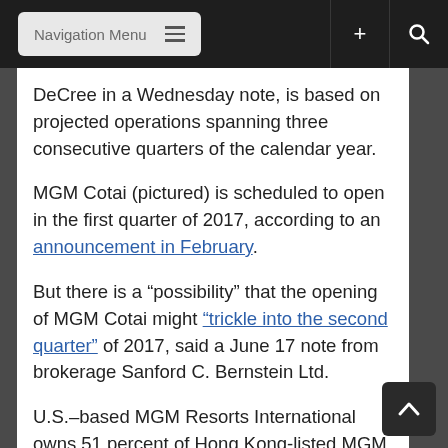Navigation Menu
DeCree in a Wednesday note, is based on projected operations spanning three consecutive quarters of the calendar year.
MGM Cotai (pictured) is scheduled to open in the first quarter of 2017, according to an announcement in February.
But there is a “possibility” that the opening of MGM Cotai might “trickle into the second quarter” of 2017, said a June 17 note from brokerage Sanford C. Bernstein Ltd.
U.S.–based MGM Resorts International owns 51 percent of Hong Kong-listed MGM China Holdings Ltd, the developer of MGM Cotai. The scheduled opening of MGM Cotai in the first quarter of 2017 was reiterated at the June 16 event.